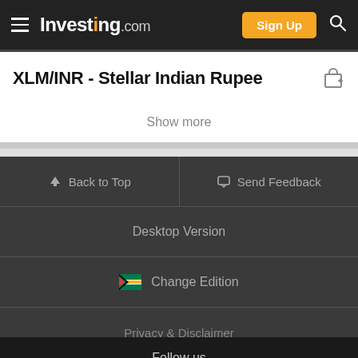Investing.com — Sign Up
XLM/INR - Stellar Indian Rupee
Show more
Back to Top
Send Feedback
Desktop Version
Change Edition
Privacy & Disclaimer
Follow us